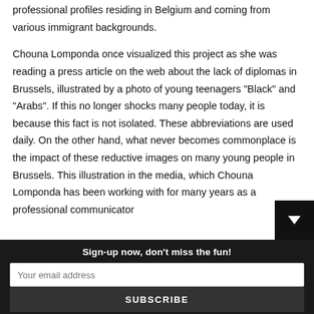professional profiles residing in Belgium and coming from various immigrant backgrounds.
Chouna Lomponda once visualized this project as she was reading a press article on the web about the lack of diplomas in Brussels, illustrated by a photo of young teenagers "Black" and "Arabs". If this no longer shocks many people today, it is because this fact is not isolated. These abbreviations are used daily. On the other hand, what never becomes commonplace is the impact of these reductive images on many young people in Brussels. This illustration in the media, which Chouna Lomponda has been working with for many years as a professional communicator
Sign-up now, don't miss the fun!
Your email address
SUBSCRIBE